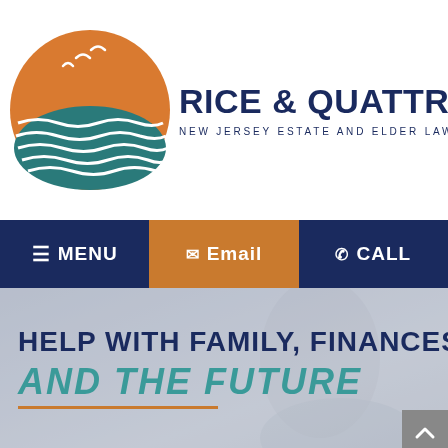[Figure (logo): Rice & Quattrone PC law firm logo with circular graphic showing orange sun/seagulls and teal ocean waves]
RICE & QUATTRONE, PC
NEW JERSEY ESTATE AND ELDER LAW SINCE 1991
≡ MENU | ✉ Email | ✆ CALL
HELP WITH FAMILY, FINANCES AND THE FUTURE
SIMPLE STEPS TO